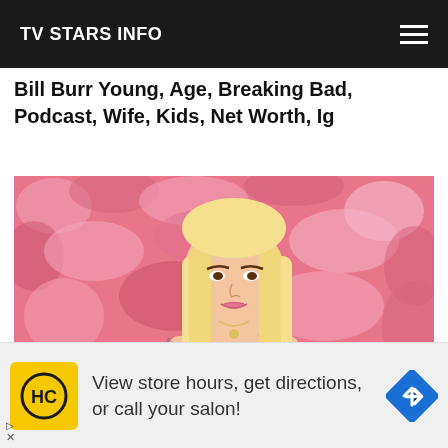TV STARS INFO
Bill Burr Young, Age, Breaking Bad, Podcast, Wife, Kids, Net Worth, Ig
[Figure (photo): Young woman with long blonde hair, tattoos on her arm, wearing a white feathery bra top, posed against a pink fluffy background]
View store hours, get directions, or call your salon!